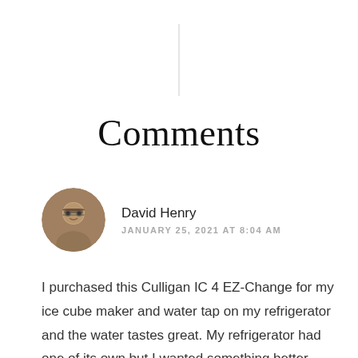Comments
David Henry
JANUARY 25, 2021 AT 8:04 AM
I purchased this Culligan IC 4 EZ-Change for my ice cube maker and water tap on my refrigerator and the water tastes great. My refrigerator had one of its own but I wanted something better and now I believe it tasted better than my RO system and it way easier to